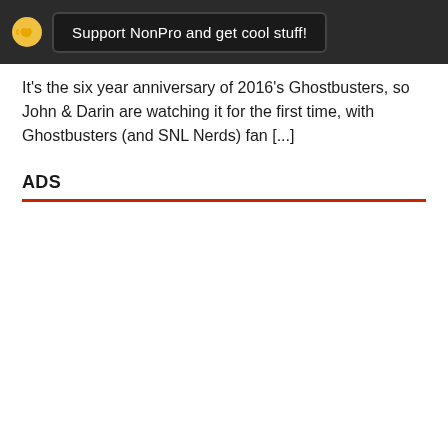Support NonPro and get cool stuff!
It's the six year anniversary of 2016's Ghostbusters, so John & Darin are watching it for the first time, with Ghostbusters (and SNL Nerds) fan [...]
ADS